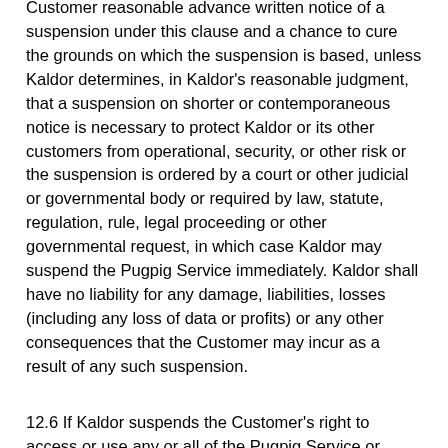Customer reasonable advance written notice of a suspension under this clause and a chance to cure the grounds on which the suspension is based, unless Kaldor determines, in Kaldor's reasonable judgment, that a suspension on shorter or contemporaneous notice is necessary to protect Kaldor or its other customers from operational, security, or other risk or the suspension is ordered by a court or other judicial or governmental body or required by law, statute, regulation, rule, legal proceeding or other governmental request, in which case Kaldor may suspend the Pugpig Service immediately. Kaldor shall have no liability for any damage, liabilities, losses (including any loss of data or profits) or any other consequences that the Customer may incur as a result of any such suspension.
12.6 If Kaldor suspends the Customer's right to access or use any or all of the Pugpig Service or Pugpig Software:
(a) the Customer remains responsible for all fees and